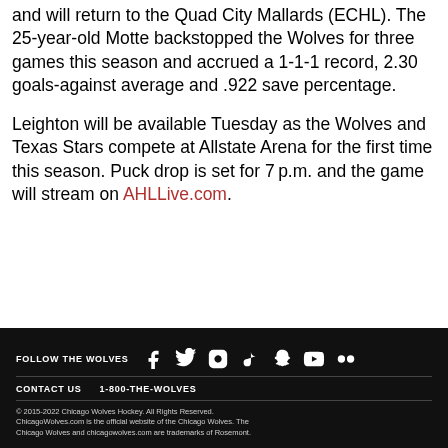and will return to the Quad City Mallards (ECHL). The 25-year-old Motte backstopped the Wolves for three games this season and accrued a 1-1-1 record, 2.30 goals-against average and .922 save percentage.
Leighton will be available Tuesday as the Wolves and Texas Stars compete at Allstate Arena for the first time this season. Puck drop is set for 7 p.m. and the game will stream on AHLLive.com.
FOLLOW THE WOLVES | CONTACT US 1-800-THE-WOLVES | © 2015-2022 Chicago Wolves Hockey. All Rights Reserved. ChicagoWolves.com is the official website of the Chicago Wolves. The Chicago Wolves and chicagowolves.com are trademarks of Rosemont.